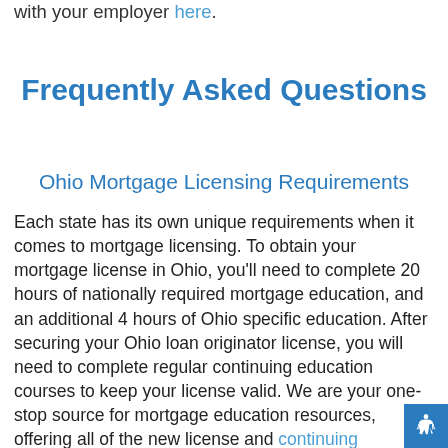with your employer here.
Frequently Asked Questions
Ohio Mortgage Licensing Requirements
Each state has its own unique requirements when it comes to mortgage licensing. To obtain your mortgage license in Ohio, you'll need to complete 20 hours of nationally required mortgage education, and an additional 4 hours of Ohio specific education. After securing your Ohio loan originator license, you will need to complete regular continuing education courses to keep your license valid. We are your one-stop source for mortgage education resources, offering all of the new license and continuing education courses necessary.